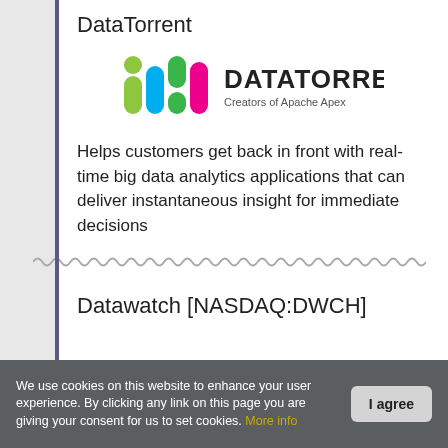DataTorrent
[Figure (logo): DataTorrent logo with colorful icon and text 'DATATORRENT Creators of Apache Apex']
Helps customers get back in front with real-time big data analytics applications that can deliver instantaneous insight for immediate decisions
Datawatch [NASDAQ:DWCH]
We use cookies on this website to enhance your user experience. By clicking any link on this page you are giving your consent for us to set cookies. More info